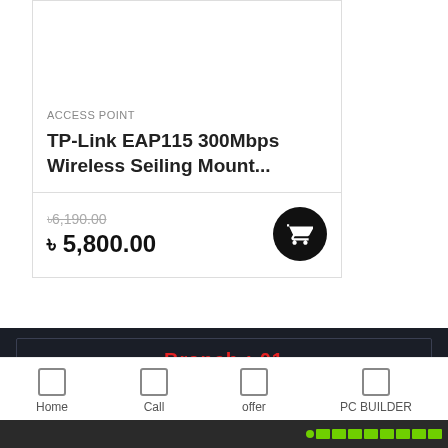ACCESS POINT
TP-Link EAP115 300Mbps Wireless Seiling Mount...
৳6,190.00 (strikethrough) ৳5,800.00
Branch : 01
BCS Computer City , IDB Bhaban(1st Floor),Shop No : SR 122/1 , Dhaka,Bangladesh. (Closed: Sunday)
Home | Call | offer | PC BUILDER